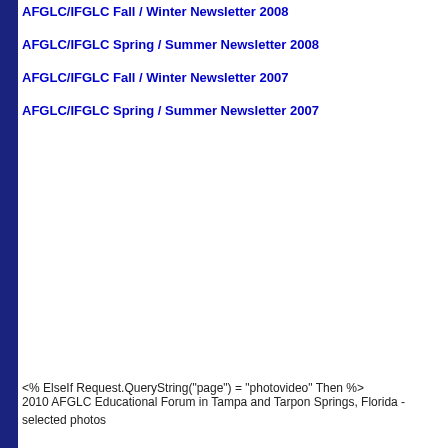AFGLC/IFGLC Fall / Winter Newsletter 2008
AFGLC/IFGLC Spring / Summer Newsletter 2008
AFGLC/IFGLC Fall / Winter Newsletter 2007
AFGLC/IFGLC Spring / Summer Newsletter 2007
<% ElseIf Request.QueryString("page") = "photovideo" Then %>
2010 AFGLC Educational Forum in Tampa and Tarpon Springs, Florida - selected photos